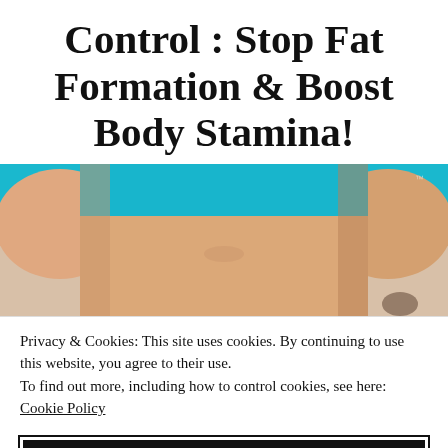Control : Stop Fat Formation & Boost Body Stamina!
[Figure (photo): Close-up photo of a woman's midsection wearing a teal/turquoise sports bra, showing her torso and abdomen]
Privacy & Cookies: This site uses cookies. By continuing to use this website, you agree to their use.
To find out more, including how to control cookies, see here: Cookie Policy
Close and accept